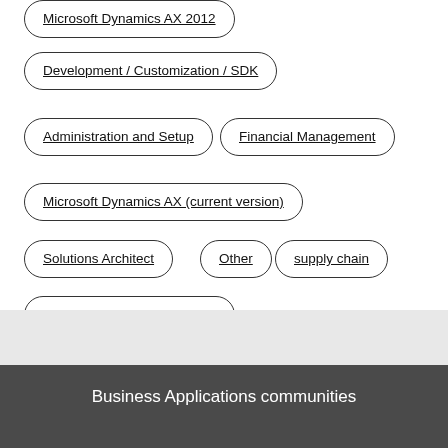Microsoft Dynamics AX 2012
Development / Customization / SDK
Administration and Setup
Financial Management
Microsoft Dynamics AX (current version)
Solutions Architect
Other
supply chain
Microsoft Dynamics AX 2009
Business Applications communities